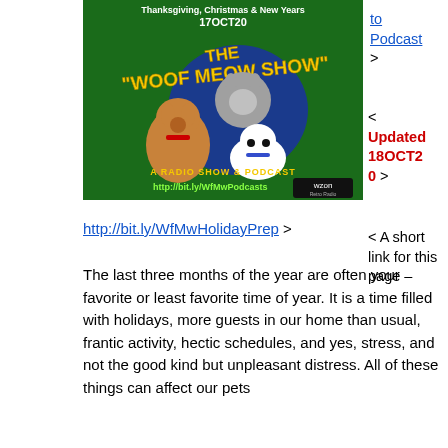[Figure (illustration): The Woof Meow Show promotional image with cartoon dog, cat, and another dog on green background. Text: 'Thanksgiving, Christmas & New Years 17OCT20', 'THE WOOF MEOW SHOW', 'A RADIO SHOW & PODCAST', 'http://bit.ly/WfMwPodcasts', WZON Retro Radio logo.]
to Podcast >
< Updated 18OCT20 >
< A short link for this page – http://bit.ly/WfMwHolidayPrep >
The last three months of the year are often your favorite or least favorite time of year. It is a time filled with holidays, more guests in our home than usual, frantic activity, hectic schedules, and yes, stress, and not the good kind but unpleasant distress. All of these things can affect our pets